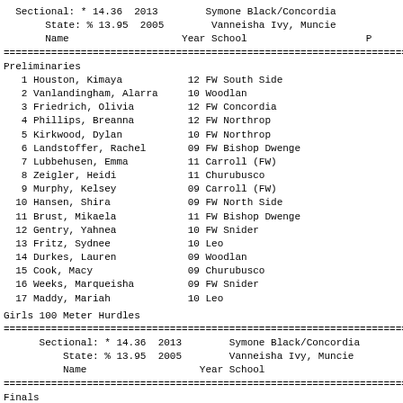Sectional: * 14.36  2013        Symone Black/Concordia
    State: % 13.95  2005        Vanneisha Ivy, Muncie
    Name                   Year School                    P
====================================================================
Preliminaries
1 Houston, Kimaya           12 FW South Side
2 Vanlandingham, Alarra     10 Woodlan
3 Friedrich, Olivia         12 FW Concordia
4 Phillips, Breanna         12 FW Northrop
5 Kirkwood, Dylan           10 FW Northrop
6 Landstoffer, Rachel       09 FW Bishop Dwenge
7 Lubbehusen, Emma          11 Carroll (FW)
8 Zeigler, Heidi            11 Churubusco
9 Murphy, Kelsey            09 Carroll (FW)
10 Hansen, Shira            09 FW North Side
11 Brust, Mikaela           11 FW Bishop Dwenge
12 Gentry, Yahnea           10 FW Snider
13 Fritz, Sydnee            10 Leo
14 Durkes, Lauren           09 Woodlan
15 Cook, Macy               09 Churubusco
16 Weeks, Marqueisha        09 FW Snider
17 Maddy, Mariah            10 Leo
Girls 100 Meter Hurdles
====================================================================
Sectional: * 14.36  2013        Symone Black/Concordia
        State: % 13.95  2005        Vanneisha Ivy, Muncie
        Name                   Year School
====================================================================
Finals